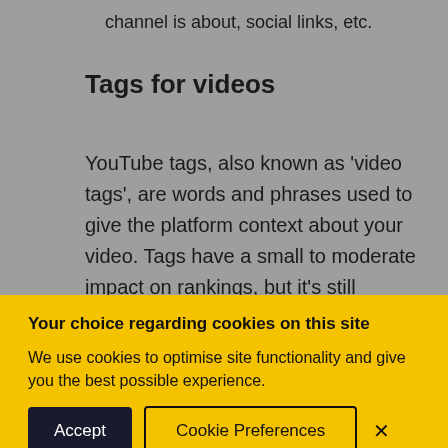channel is about, social links, etc.
Tags for videos
YouTube tags, also known as 'video tags', are words and phrases used to give the platform context about your video. Tags have a small to moderate impact on rankings, but it's still important to get them...
Your choice regarding cookies on this site
We use cookies to optimise site functionality and give you the best possible experience.
Accept  Cookie Preferences  ×